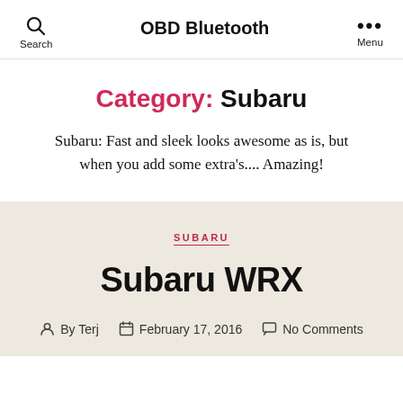OBD Bluetooth
Category: Subaru
Subaru: Fast and sleek looks awesome as is, but when you add some extra's.... Amazing!
SUBARU
Subaru WRX
By Terj  February 17, 2016  No Comments